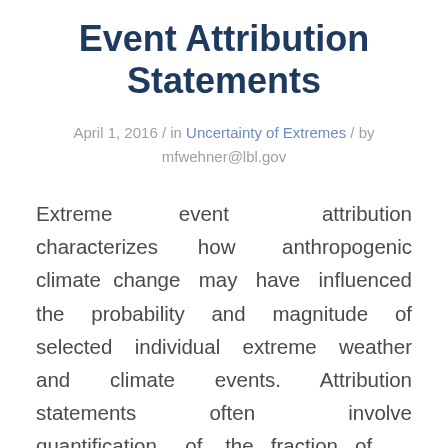Event Attribution Statements
April 1, 2016 / in Uncertainty of Extremes / by mfwehner@lbl.gov
Extreme event attribution characterizes how anthropogenic climate change may have influenced the probability and magnitude of selected individual extreme weather and climate events. Attribution statements often involve quantification of the fraction of